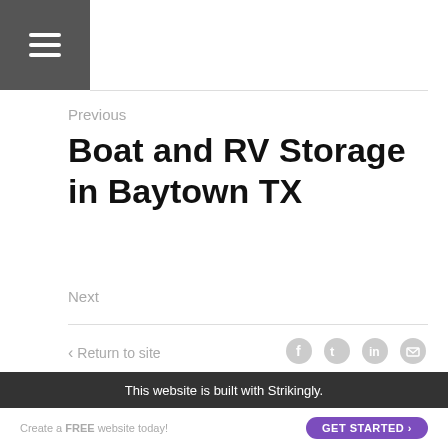☰ (hamburger menu)
Previous
Boat and RV Storage in Baytown TX
Next
< Return to site
[Figure (infographic): Social media share icons: Facebook, Twitter, LinkedIn, Email]
Powered by Strikingly
[Figure (infographic): CREATE A SITE WITH strikingly - purple banner with arrow and divider]
This website is built with Strikingly.
GET STARTED >